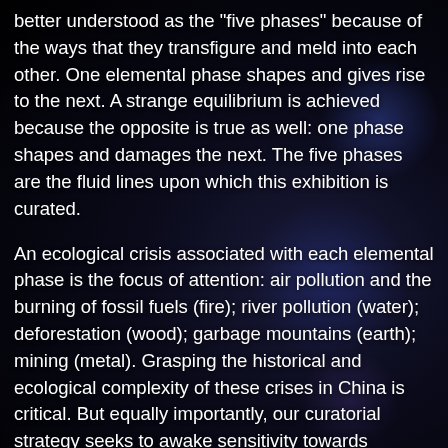better understood as the "five phases" because of the ways that they transfigure and meld into each other. One elemental phase shapes and gives rise to the next. A strange equilibrium is achieved because the opposite is true as well: one phase shapes and damages the next. The five phases are the fluid lines upon which this exhibition is curated.
An ecological crisis associated with each elemental phase is the focus of attention: air pollution and the burning of fossil fuels (fire); river pollution (water); deforestation (wood); garbage mountains (earth); mining (metal). Grasping the historical and ecological complexity of these crises in China is critical. But equally importantly, our curatorial strategy seeks to awake sensitivity towards constant environmental change across the globe––to return to a sense of the undifferentiated in today's highly differentiated world, a world partitioned by boundaries, categories, classifications. It further maintains an